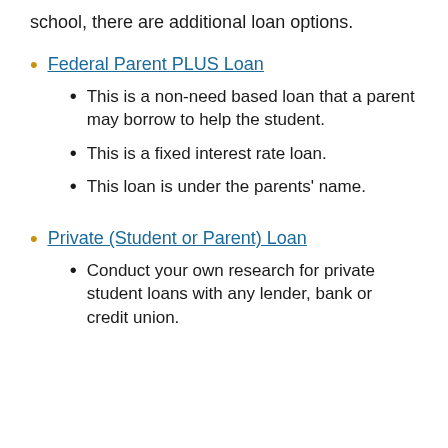school, there are additional loan options.
Federal Parent PLUS Loan
This is a non-need based loan that a parent may borrow to help the student.
This is a fixed interest rate loan.
This loan is under the parents' name.
Private (Student or Parent) Loan
Conduct your own research for private student loans with any lender, bank or credit union.